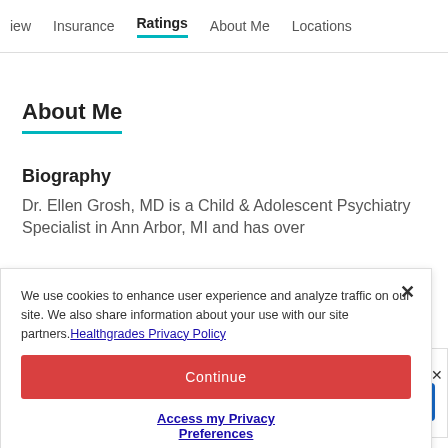iew  Insurance  Ratings  About Me  Locations
About Me
Biography
Dr. Ellen Grosh, MD is a Child & Adolescent Psychiatry Specialist in Ann Arbor, MI and has over
We use cookies to enhance user experience and analyze traffic on our site. We also share information about your use with our site partners. Healthgrades Privacy Policy
Continue
Access my Privacy Preferences
Child & Adolescent Psychiatry